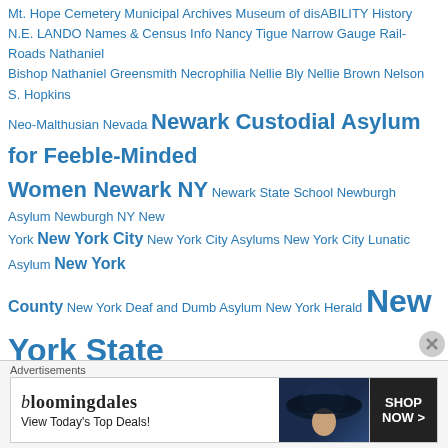Mt. Hope Cemetery Municipal Archives Museum of disABILITY History N.E. LANDO Names & Census Info Nancy Tigue Narrow Gauge Rail-Roads Nathaniel Bishop Nathaniel Greensmith Necrophilia Nellie Bly Nellie Brown Nelson S. Hopkins Neo-Malthusian Nevada Newark Custodial Asylum for Feeble-Minded Women Newark NY Newark State School Newburgh Asylum Newburgh NY New York New York City New York City Asylums New York City Lunatic Asylum New York County New York Deaf and Dumb Asylum New York Herald New York State New York State Asylum for Idiots New York State Commission in Lunacy New York State County Poor Houses New York State Custodial Institutions New York State Hospital Commission New York State Hospitals New York State Inebriate Asylum New York State Insane Asylums New York State Lunatic Asylum at Utica New York State Medical Society New York State Museum New York State Office of Mental Health New York State New York
[Figure (screenshot): Bloomingdales advertisement banner: 'bloomingdales View Today's Top Deals!' with a woman in a hat, and a 'SHOP NOW >' button.]